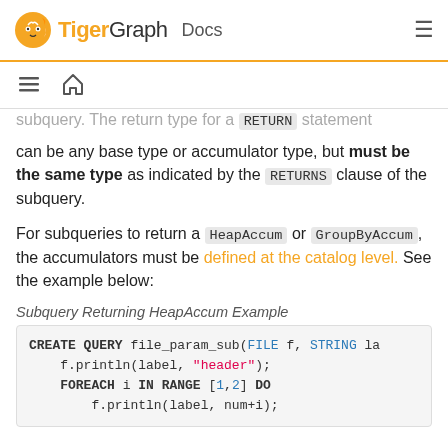TigerGraph Docs
subquery. The return type for a RETURN statement can be any base type or accumulator type, but must be the same type as indicated by the RETURNS clause of the subquery.
For subqueries to return a HeapAccum or GroupByAccum, the accumulators must be defined at the catalog level. See the example below:
Subquery Returning HeapAccum Example
CREATE QUERY file_param_sub(FILE f, STRING la
    f.println(label, "header");
    FOREACH i IN RANGE [1,2] DO
        f.println(label, num+i);